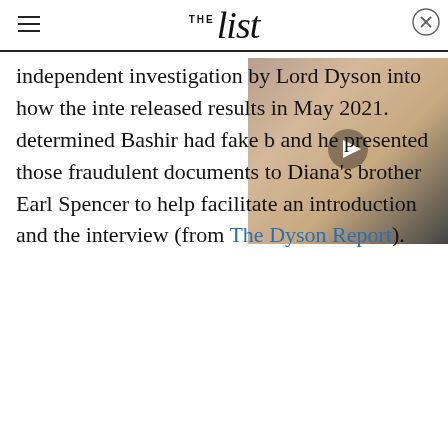THE List
independent investigation by Lord Dyson into how the inte released results in May 2021. determined Bashir had fake b and he presented those fraudulent documents to Diana's brother Earl Spencer to help facilitate an introduction and the interview (from The Dyson Report).
[Figure (photo): Video thumbnail showing a blonde woman, with a play button overlay]